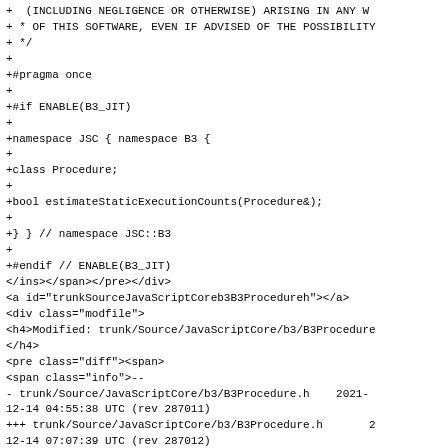+ * (INCLUDING NEGLIGENCE OR OTHERWISE) ARISING IN ANY W
+ * OF THIS SOFTWARE, EVEN IF ADVISED OF THE POSSIBILITY
+ */
+
+#pragma once
+
+#if ENABLE(B3_JIT)
+
+namespace JSC { namespace B3 {
+
+class Procedure;
+
+bool estimateStaticExecutionCounts(Procedure&);
+
+} } // namespace JSC::B3
+
+#endif // ENABLE(B3_JIT)
</ins></span></pre></div>
<a id="trunkSourceJavaScriptCoreb3B3Procedureh"></a>
<div class="modfile">
<h4>Modified: trunk/Source/JavaScriptCore/b3/B3Procedure
</h4>
<pre class="diff"><span>
<span class="info">--
- trunk/Source/JavaScriptCore/b3/B3Procedure.h    2021-
12-14 04:55:38 UTC (rev 287011)
+++ trunk/Source/JavaScriptCore/b3/B3Procedure.h       2
12-14 07:07:39 UTC (rev 287012)
</span><span class="lines">@@ -189,7 +189,7 @@
</span>
<span class="cx">    CFG& cfg() const { return *m_cfg;